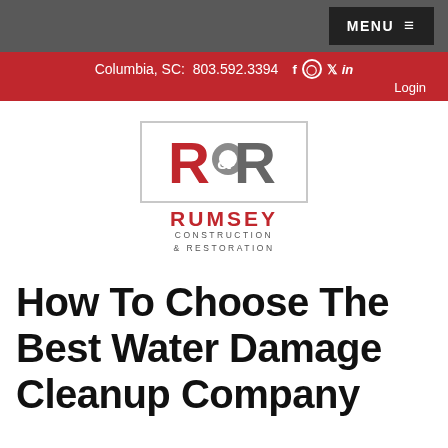MENU
Columbia, SC: 803.592.3394  f  ig  tw  in  Login
[Figure (logo): Rumsey Construction & Restoration logo — R&R initials in red and grey with circular chain link motif, inside a light grey border rectangle, with RUMSEY in bold red below and CONSTRUCTION & RESTORATION in grey caps]
How To Choose The Best Water Damage Cleanup Company